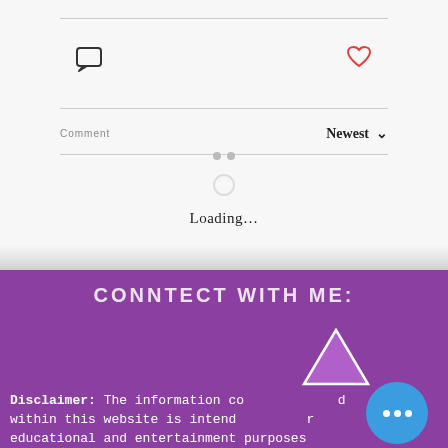[Figure (screenshot): Comment icon (speech bubble outline) on left, heart icon outline in red on right, separated by a horizontal divider at top]
Comment     Newest ∨
Loading…
[Figure (screenshot): Purple banner section with text CONNTECT WITH ME: and a purple triangle icon on the right]
CONNTECT WITH ME:
Disclaimer: The information contained within this website is intended for educational and entertainment purposes